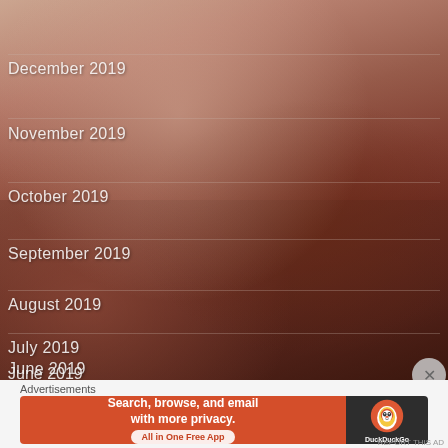[Figure (screenshot): Screenshot of a website archive/blog index page showing monthly archive links (December 2019 through May 2019) overlaid on a blurry reddish-brown photo background of what appears to be animals or figures. The page shows month labels as navigation links on a dark photo background.]
December 2019
November 2019
October 2019
September 2019
August 2019
July 2019
June 2019
May 2019
Advertisements
[Figure (screenshot): DuckDuckGo advertisement banner: orange left panel reading 'Search, browse, and email with more privacy. All in One Free App', dark right panel with DuckDuckGo duck logo and DuckDuckGo text.]